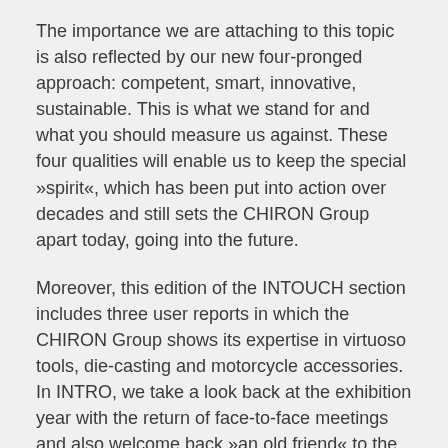The importance we are attaching to this topic is also reflected by our new four-pronged approach: competent, smart, innovative, sustainable. This is what we stand for and what you should measure us against. These four qualities will enable us to keep the special »spirit«, which has been put into action over decades and still sets the CHIRON Group apart today, going into the future.
Moreover, this edition of the INTOUCH section includes three user reports in which the CHIRON Group shows its expertise in virtuoso tools, die-casting and motorcycle accessories. In INTRO, we take a look back at the exhibition year with the return of face-to-face meetings and also welcome back »an old friend« to the CHIRON Group.
We hope you enjoy reading the magazine and look forward to writing the next chapters of our success story with you.